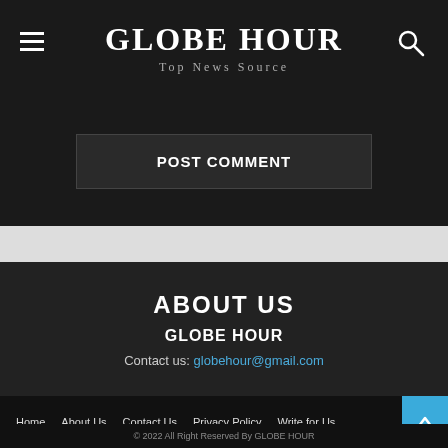GLOBE HOUR — Top News Source
POST COMMENT
ABOUT US
GLOBE HOUR
Contact us: globehour@gmail.com
Home   About Us   Contact Us   Privacy Policy   Write for Us
© 2022 All Right Reserved By GLOBE HOUR